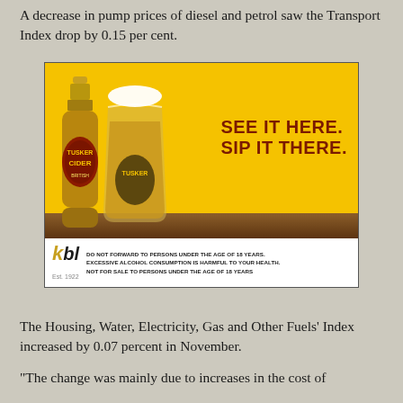A decrease in pump prices of diesel and petrol saw the Transport Index drop by 0.15 per cent.
[Figure (photo): Tusker Cider advertisement showing a bottle and glass of Tusker Cider on a wooden surface with yellow background. Text reads 'SEE IT HERE. SIP IT THERE.' KBL logo and alcohol disclaimer at bottom.]
The Housing, Water, Electricity, Gas and Other Fuels' Index increased by 0.07 percent in November.
“The change was mainly due to increases in the cost of